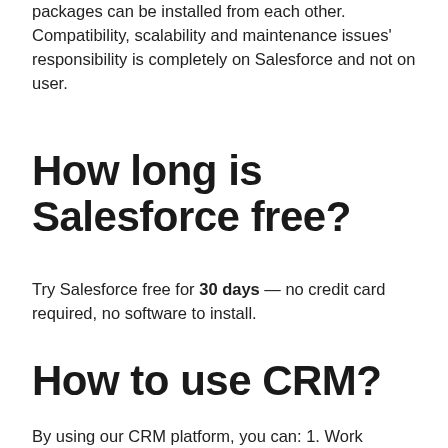packages can be installed from each other. Compatibility, scalability and maintenance issues' responsibility is completely on Salesforce and not on user.
How long is Salesforce free?
Try Salesforce free for 30 days — no credit card required, no software to install.
How to use CRM?
By using our CRM platform, you can: 1. Work